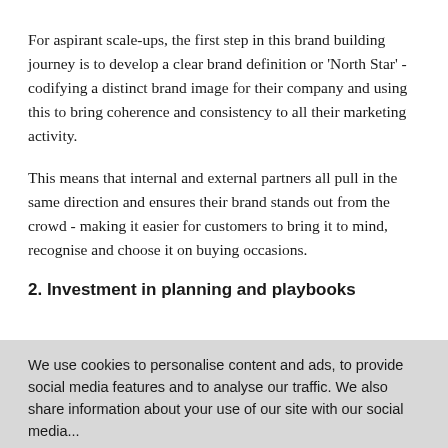For aspirant scale-ups, the first step in this brand building journey is to develop a clear brand definition or 'North Star' - codifying a distinct brand image for their company and using this to bring coherence and consistency to all their marketing activity.
This means that internal and external partners all pull in the same direction and ensures their brand stands out from the crowd - making it easier for customers to bring it to mind, recognise and choose it on buying occasions.
2. Investment in planning and playbooks
[partially visible / obscured line]
We use cookies to personalise content and ads, to provide social media features and to analyse our traffic. We also share information about your use of our site with our social media...